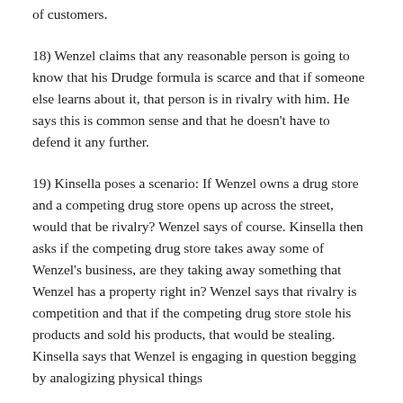of customers.
18) Wenzel claims that any reasonable person is going to know that his Drudge formula is scarce and that if someone else learns about it, that person is in rivalry with him. He says this is common sense and that he doesn't have to defend it any further.
19) Kinsella poses a scenario: If Wenzel owns a drug store and a competing drug store opens up across the street, would that be rivalry? Wenzel says of course. Kinsella then asks if the competing drug store takes away some of Wenzel's business, are they taking away something that Wenzel has a property right in? Wenzel says that rivalry is competition and that if the competing drug store stole his products and sold his products, that would be stealing. Kinsella says that Wenzel is engaging in question begging by analogizing physical things